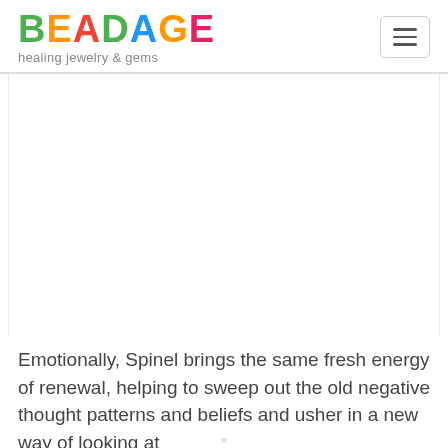BEADAGE healing jewelry & gems
[Figure (other): Large white/blank content area, likely an image placeholder for a gemstone or jewelry photo]
Emotionally, Spinel brings the same fresh energy of renewal, helping to sweep out the old negative thought patterns and beliefs and usher in a new way of looking at